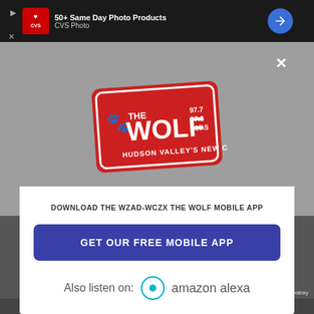[Figure (screenshot): Top ad bar with CVS Photo advertisement: '50+ Same Day Photo Products CVS Photo' with navigation arrow icon on dark background]
[Figure (logo): The Wolf radio station logo: red rectangular badge with wolf paw prints, text 'THE WOLF 97.7 97.3 105.5 HUDSON VALLEY'S NEW COUNTRY']
DOWNLOAD THE WZAD-WCZX THE WOLF MOBILE APP
GET OUR FREE MOBILE APP
Also listen on:  amazon alexa